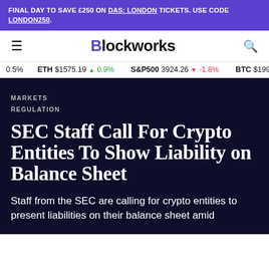FINAL DAY TO SAVE £250 ON DAS: LONDON TICKETS. USE CODE LONDON250.
[Figure (logo): Blockworks logo with hamburger menu and search icon]
ETH $1575.19 ▲ 0.9%  S&P500 3924.26 ▼ -1.8%  BTC $19921.15
MARKETS
REGULATION
SEC Staff Call For Crypto Entities To Show Liability on Balance Sheet
Staff from the SEC are calling for crypto entities to present liabilities on their balance sheet amid the…